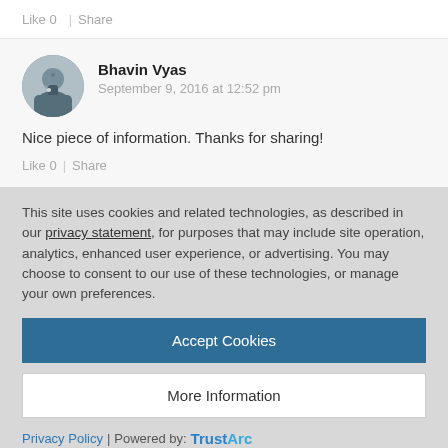Like 0  |  Share
Bhavin Vyas
September 9, 2016 at 12:52 pm
Nice piece of information. Thanks for sharing!
Like 0  |  Share
This site uses cookies and related technologies, as described in our privacy statement, for purposes that may include site operation, analytics, enhanced user experience, or advertising. You may choose to consent to our use of these technologies, or manage your own preferences.
Accept Cookies
More Information
Privacy Policy | Powered by: TrustArc